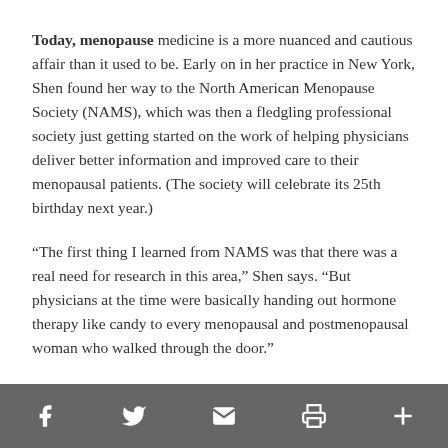Today, menopause medicine is a more nuanced and cautious affair than it used to be. Early on in her practice in New York, Shen found her way to the North American Menopause Society (NAMS), which was then a fledgling professional society just getting started on the work of helping physicians deliver better information and improved care to their menopausal patients. (The society will celebrate its 25th birthday next year.)
“The first thing I learned from NAMS was that there was a real need for research in this area,” Shen says. “But physicians at the time were basically handing out hormone therapy like candy to every menopausal and postmenopausal woman who walked through the door.”
Gynecology was still dominated by male physicians then, and that may have contributed to some level of disconnect
Social sharing bar with Facebook, Twitter, Email, Print, and More icons